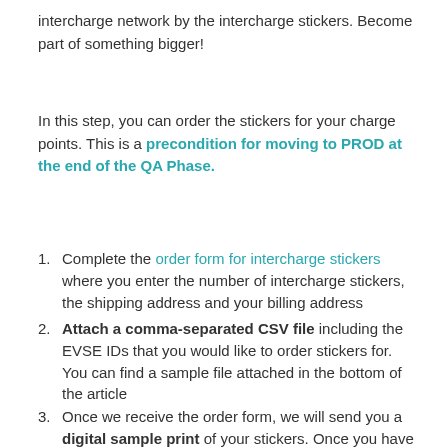intercharge network by the intercharge stickers. Become part of something bigger!
In this step, you can order the stickers for your charge points. This is a precondition for moving to PROD at the end of the QA Phase.
1. Complete the order form for intercharge stickers where you enter the number of intercharge stickers, the shipping address and your billing address
2. Attach a comma-separated CSV file including the EVSE IDs that you would like to order stickers for. You can find a sample file attached in the bottom of the article
3. Once we receive the order form, we will send you a digital sample print of your stickers. Once you have